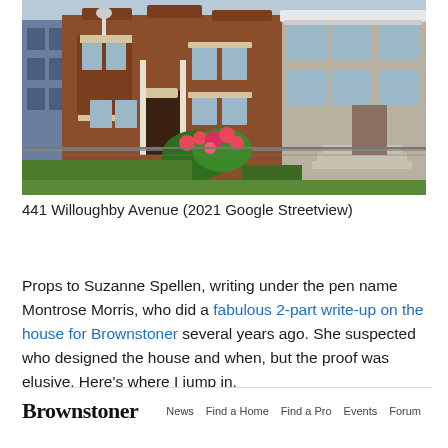[Figure (photo): Street view photograph of 441 Willoughby Avenue, a large Victorian-era brownstone/brick building with ornate white trim, bay windows, and flowering bushes in front, behind a chain-link fence. 2021 Google Streetview.]
441 Willoughby Avenue (2021 Google Streetview)
Props to Suzanne Spellen, writing under the pen name Montrose Morris, who did a fabulous 2-part write-up on the house for Brownstoner several years ago. She suspected who designed the house and when, but the proof was elusive. Here’s where I jump in.
[Figure (screenshot): Screenshot of the Brownstoner website header showing the logo 'Brownstoner' and navigation links: News, Find a Home, Find a Pro, Events, Forum, Podcasts, Explo]